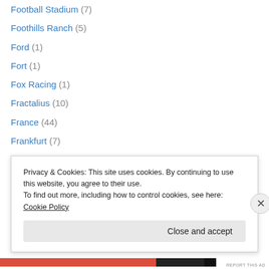Football Stadium (7)
Foothills Ranch (5)
Ford (1)
Fort (1)
Fox Racing (1)
Fractalius (10)
France (44)
Frankfurt (7)
Fredericksburg (1)
Fredricksburg (2)
Freestone Raceway (1)
Frog (1)
Fullerton (1)
Privacy & Cookies: This site uses cookies. By continuing to use this website, you agree to their use. To find out more, including how to control cookies, see here: Cookie Policy
Close and accept